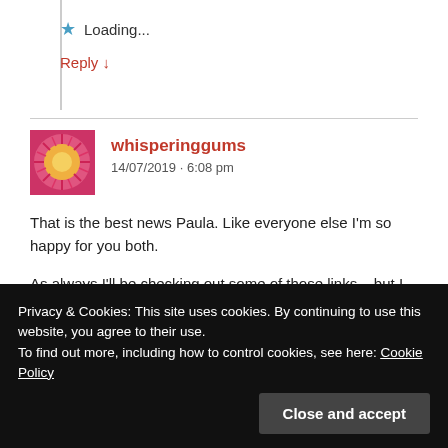★ Loading...
Reply ↓
whisperinggums
14/07/2019 · 6:08 pm
That is the best news Paula. Like everyone else I'm so happy for you both.
As always I'll be checking out some of those links – but I love that you've included one from our The Conversation on Charmian Clift.
Privacy & Cookies: This site uses cookies. By continuing to use this website, you agree to their use.
To find out more, including how to control cookies, see here: Cookie Policy
Close and accept